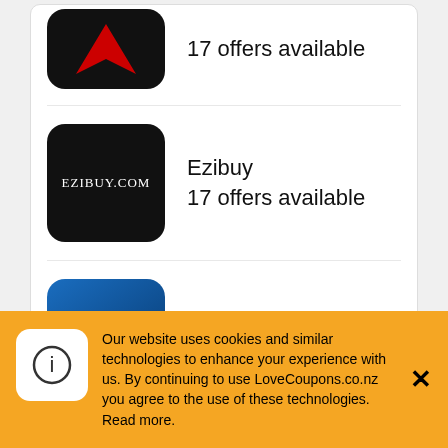17 offers available
Ezibuy
17 offers available
Booking.com
19 offers available
The Best Best Western Coupon Codes, Discount Codes, Promo Codes, Offers & Deals can be found at LoveCoupons.co.nz
Our website uses cookies and similar technologies to enhance your experience with us. By continuing to use LoveCoupons.co.nz you agree to the use of these technologies. Read more.